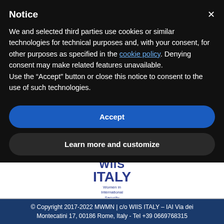Notice
We and selected third parties use cookies or similar technologies for technical purposes and, with your consent, for other purposes as specified in the cookie policy. Denying consent may make related features unavailable.
Use the “Accept” button or close this notice to consent to the use of such technologies.
Accept
Learn more and customize
[Figure (logo): WIIS ITALY – Women in International Security logo]
© Copyright 2017-2022 MWMN | c/o WIIS ITALY – IAI Via dei Montecatini 17, 00186 Rome, Italy - Tel +39 0669768315